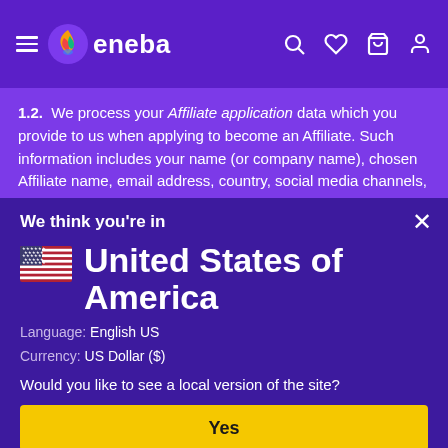eneba
1.2. We process your Affiliate application data which you provide to us when applying to become an Affiliate. Such information includes your name (or company name), chosen Affiliate name, email address, country, social media channels, websites and their statistics (follower count, views and similar metrics), which ENEBA
Cookies
We think you're in
United States of America
Language: English US
Currency: US Dollar ($)
Would you like to see a local version of the site?
Yes